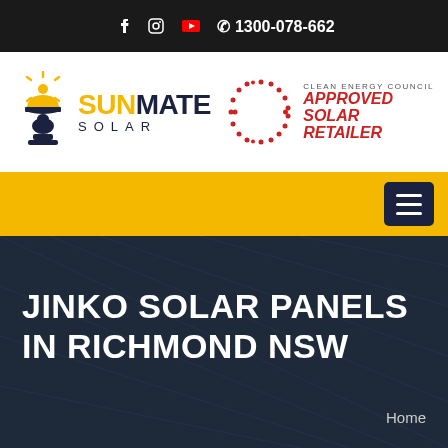f  [instagram]  [youtube]  ✆ 1300-078-662
[Figure (logo): SunMate Solar logo with hard-hat figure icon in yellow and dark navy text. Clean Energy Council Approved Solar Retailer badge on the right.]
[Figure (screenshot): Gold navigation bar with dark navy hamburger menu button on the right.]
JINKO SOLAR PANELS IN RICHMOND NSW
Home